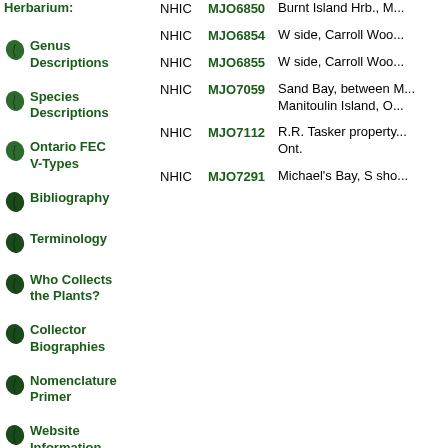Herbarium:
Genus Descriptions
Species Descriptions
Ontario FEC V-Types
Bibliography
Terminology
Who Collects the Plants?
Collector Biographies
Nomenclature Primer
Website Information
|  | ID | Description |
| --- | --- | --- |
| NHIC | MJO6850 | Burnt Island Hrb., M... |
| NHIC | MJO6854 | W side, Carroll Woo... |
| NHIC | MJO6855 | W side, Carroll Woo... |
| NHIC | MJO7059 | Sand Bay, between M... Manitoulin Island, O... |
| NHIC | MJO7112 | R.R. Tasker property... Ont. |
| NHIC | MJO7291 | Michael's Bay, S sho... |